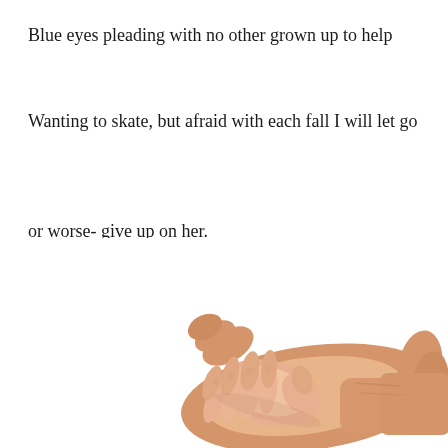Blue eyes pleading with no other grown up to help
Wanting to skate, but afraid with each fall I will let go
or worse- give up on her.
I cannot NOT help her!
[Figure (photo): A small child's hand resting in the palm of a larger adult hand, photographed against a white background.]